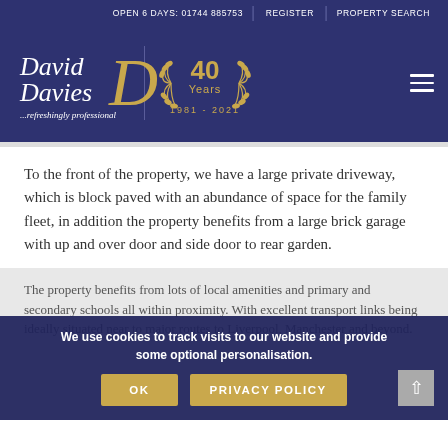OPEN 6 DAYS: 01744 885753 | REGISTER | PROPERTY SEARCH
[Figure (logo): David Davies estate agents logo with '40 Years 1981-2021' anniversary badge and tagline '...refreshingly professional']
To the front of the property, we have a large private driveway, which is block paved with an abundance of space for the family fleet, in addition the property benefits from a large brick garage with up and over door and side door to rear garden.
The property benefits from lots of local amenities and primary and secondary schools all within proximity. With excellent transport links being ideally situated near to major routes to Liverpool, Manchester and beyond.
We use cookies to track visits to our website and provide some optional personalisation.